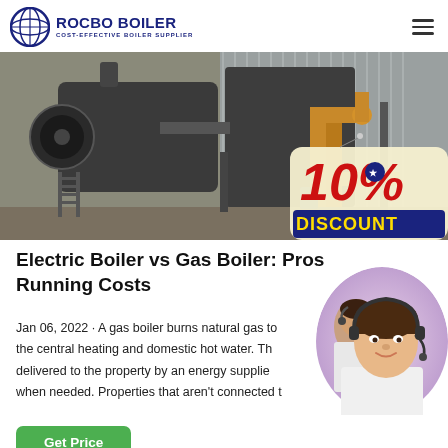[Figure (logo): Rocbo Boiler logo with circular globe icon and text 'ROCBO BOILER' and subtitle 'COST-EFFECTIVE BOILER SUPPLIER']
[Figure (photo): Industrial boiler installation in a factory/warehouse setting showing gas boilers with yellow pipes and fittings, with a 10% DISCOUNT badge overlaid on bottom right]
Electric Boiler vs Gas Boiler: Pros Running Costs
Jan 06, 2022 · A gas boiler burns natural gas to the central heating and domestic hot water. Th delivered to the property by an energy supplie when needed. Properties that aren't connected t
[Figure (photo): Customer service representative woman wearing headset, smiling, with another agent in background]
Get Price